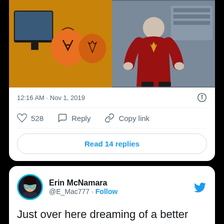[Figure (screenshot): Two photos side by side: left shows Star Trek carved pumpkins on a desk with a monitor; right shows a person in a red Star Trek uniform costume.]
12:16 AM · Nov 1, 2019
528  Reply  Copy link
Read 14 replies
Erin McNamara @E_Mac777 · Follow
Just over here dreaming of a better future where all are embraced whether Mugato, Butterfly, or Humanoid #StarTrek #HappyHalloween #LLAP
[Figure (photo): Partial photo showing a building exterior with large windows and trees.]